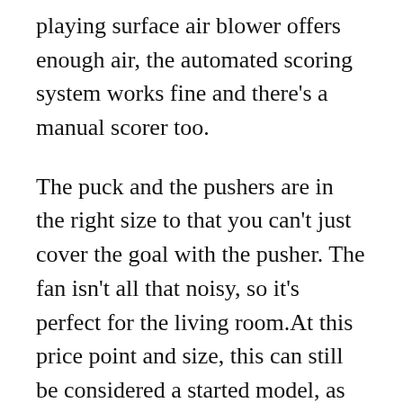playing surface air blower offers enough air, the automated scoring system works fine and there’s a manual scorer too.
The puck and the pushers are in the right size to that you can’t just cover the goal with the pusher. The fan isn’t all that noisy, so it’s perfect for the living room.At this price point and size, this can still be considered a started model, as bigger tables cost up to 5 times more.
At this price it’s a true bargain. Even 6-year old kids can play with this, because the height of the table is only 32 inches. Besides, the kids will